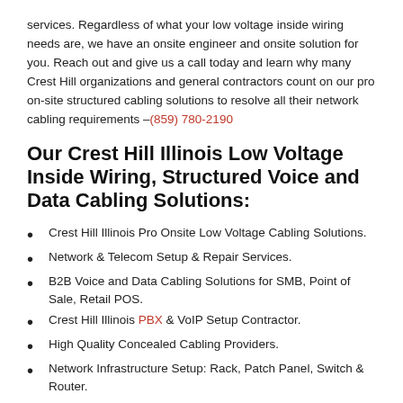services. Regardless of what your low voltage inside wiring needs are, we have an onsite engineer and onsite solution for you. Reach out and give us a call today and learn why many Crest Hill organizations and general contractors count on our pro on-site structured cabling solutions to resolve all their network cabling requirements –(859) 780-2190
Our Crest Hill Illinois Low Voltage Inside Wiring, Structured Voice and Data Cabling Solutions:
Crest Hill Illinois Pro Onsite Low Voltage Cabling Solutions.
Network & Telecom Setup & Repair Services.
B2B Voice and Data Cabling Solutions for SMB, Point of Sale, Retail POS.
Crest Hill Illinois PBX & VoIP Setup Contractor.
High Quality Concealed Cabling Providers.
Network Infrastructure Setup: Rack, Patch Panel, Switch & Router.